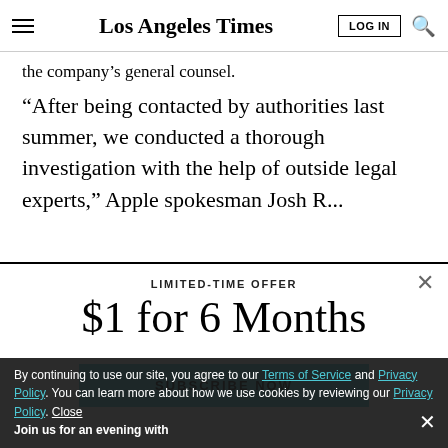Los Angeles Times
the company's general counsel.
“After being contacted by authorities last summer, we conducted a thorough investigation with the help of outside legal experts,” Apple spokesman Josh R...
LIMITED-TIME OFFER
$1 for 6 Months
SUBSCRIBE NOW
By continuing to use our site, you agree to our Terms of Service and Privacy Policy. You can learn more about how we use cookies by reviewing our Privacy Policy. Close
Join us for an evening with